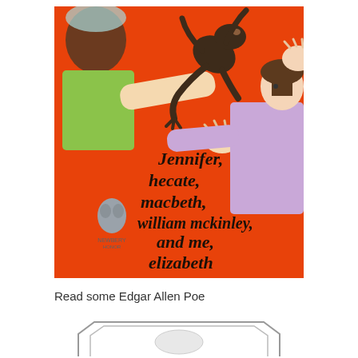[Figure (illustration): Book cover of 'Jennifer, Hecate, Macbeth, William McKinley, and Me, Elizabeth' — orange background with two children reaching toward a large frog/lizard in the air. One child wears a green top, the other wears purple/lavender. A Newbery Honor medal is visible at the lower left. The title is written in decorative black medieval-style lettering.]
Read some Edgar Allen Poe
[Figure (illustration): Partial view of another book cover at the bottom of the page, with a hexagonal/geometric border shape visible.]